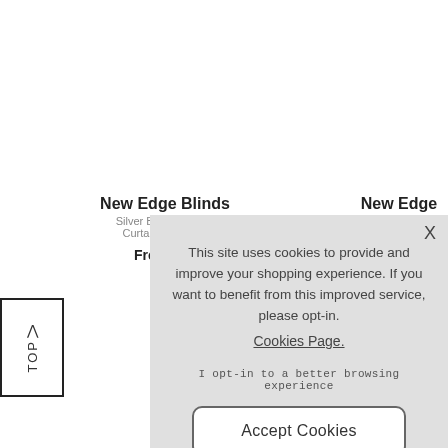New Edge Blinds
Silver Ball Metal B...
Curtain Pole 13...
From £11
New Edge Blinds
∧ TOP
This site uses cookies to provide and improve your shopping experience. If you want to benefit from this improved service, please opt-in. Cookies Page. I opt-in to a better browsing experience
Accept Cookies